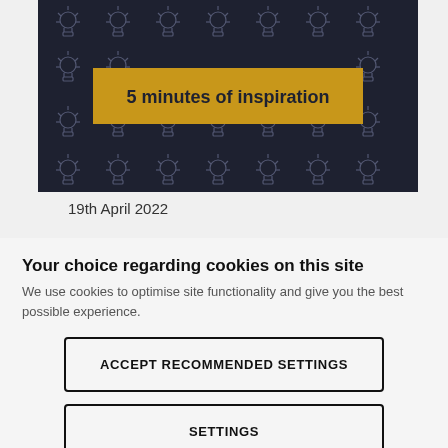[Figure (illustration): Dark navy background with repeating lightbulb icons pattern, and a gold/amber banner in the center reading '5 minutes of inspiration']
19th April 2022
Your choice regarding cookies on this site
We use cookies to optimise site functionality and give you the best possible experience.
ACCEPT RECOMMENDED SETTINGS
SETTINGS